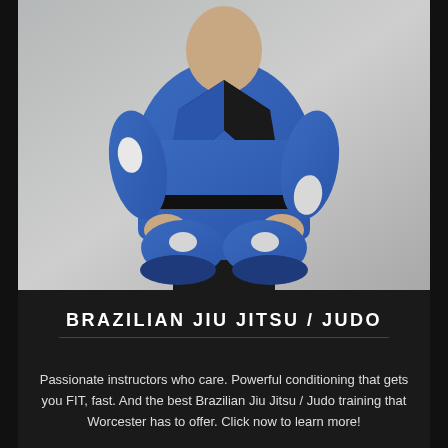[Figure (photo): A man wearing a blue Brazilian Jiu Jitsu gi (uniform) with a black belt, sitting in a kneeling/seiza position against a light gray background. The image has a dark upward-pointing arrow/chevron shape at the bottom center.]
BRAZILIAN JIU JITSU / JUDO
Passionate instructors who care. Powerful conditioning that gets you FIT, fast. And the best Brazilian Jiu Jitsu / Judo training that Worcester has to offer. Click now to learn more!